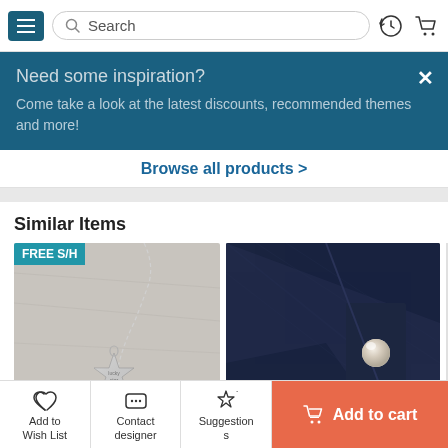Search bar header with hamburger menu, search input, history and cart icons
Need some inspiration?
Come take a look at the latest discounts, recommended themes and more!
Browse all products >
Similar Items
[Figure (photo): Silver lucky star necklace pendant with chain, FREE S/H badge in top-left corner]
[Figure (photo): Dark navy blue fabric jacket with a pearl/button accent]
Add to Wish List
Contact designer
Suggestions
Add to cart